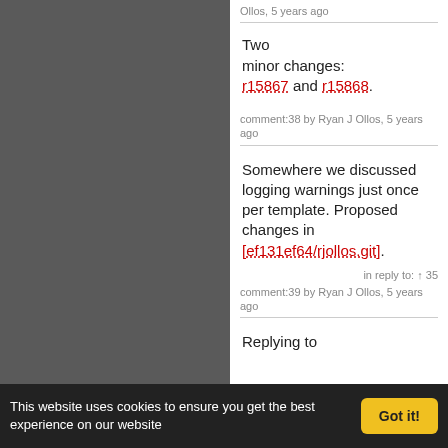Ollos, 5 years ago
Two minor changes: r15867 and r15868.
comment:38 by Ryan J Ollos, 5 years ago
Somewhere we discussed logging warnings just once per template. Proposed changes in [ef131ef64/rjollos.git].
in reply to: ↑ 35
comment:39 by Ryan J Ollos, 5 years ago
Replying to
This website uses cookies to ensure you get the best experience on our website